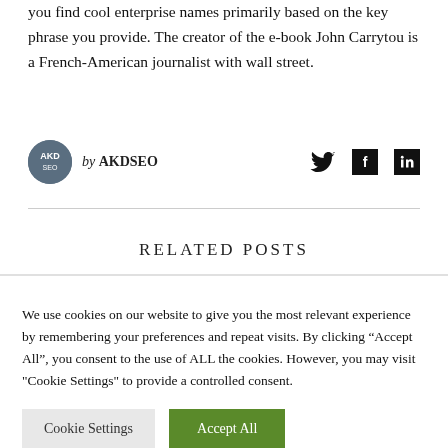you find cool enterprise names primarily based on the key phrase you provide. The creator of the e-book John Carrytou is a French-American journalist with wall street.
by AKDSEO
RELATED POSTS
We use cookies on our website to give you the most relevant experience by remembering your preferences and repeat visits. By clicking “Accept All”, you consent to the use of ALL the cookies. However, you may visit "Cookie Settings" to provide a controlled consent.